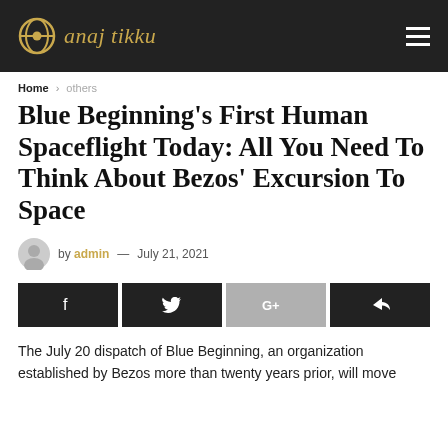anaj tikku
Home › others
Blue Beginning's First Human Spaceflight Today: All You Need To Think About Bezos' Excursion To Space
by admin — July 21, 2021
[Figure (infographic): Social share buttons: Facebook, Twitter, Google+, Share]
The July 20 dispatch of Blue Beginning, an organization established by Bezos more than twenty years prior, will move